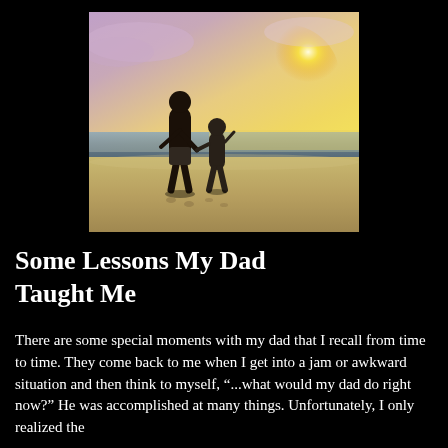[Figure (photo): A father and young child holding hands walking on a beach at sunset, silhouetted against a warm golden and purple sky with waves in the background.]
Some Lessons My Dad Taught Me
There are some special moments with my dad that I recall from time to time. They come back to me when I get into a jam or awkward situation and then think to myself, "...what would my dad do right now?" He was accomplished at many things. Unfortunately, I only realized the